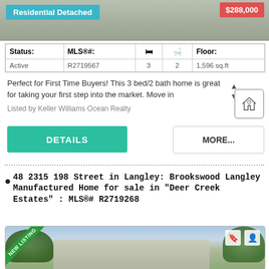[Figure (photo): Top of real estate listing card showing a house photo with blue 'Residential Detached' badge and red price badge showing $288,000]
| Status: | MLS®#: | 🛏 | 🛁 | Floor: |
| --- | --- | --- | --- | --- |
| Active | R2719567 | 3 | 2 | 1,596 sq.ft |
Perfect for First Time Buyers! This 3 bed/2 bath home is great for taking your first step into the market. Move in
Listed by Keller Williams Ocean Realty
DETAILS
MORE...
48 2315 198 Street in Langley: Brookswood Langley Manufactured Home for sale in "Deer Creek Estates" : MLS®# R2719268
[Figure (photo): Property photo of a manufactured/mobile home with green siding and trimmed shrubs, with NEW LISTING ribbon banner in top left corner]